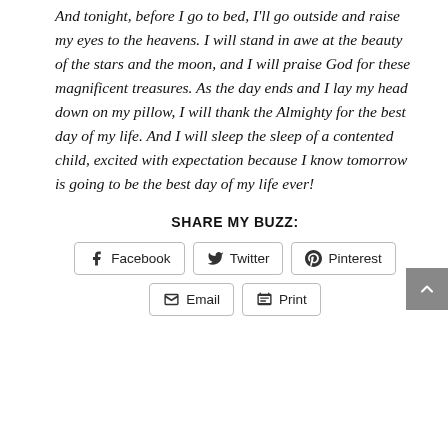And tonight, before I go to bed, I'll go outside and raise my eyes to the heavens. I will stand in awe at the beauty of the stars and the moon, and I will praise God for these magnificent treasures. As the day ends and I lay my head down on my pillow, I will thank the Almighty for the best day of my life. And I will sleep the sleep of a contented child, excited with expectation because I know tomorrow is going to be the best day of my life ever!
SHARE MY BUZZ:
[Figure (other): Social share buttons: Facebook, Twitter, Pinterest, Email, Print]